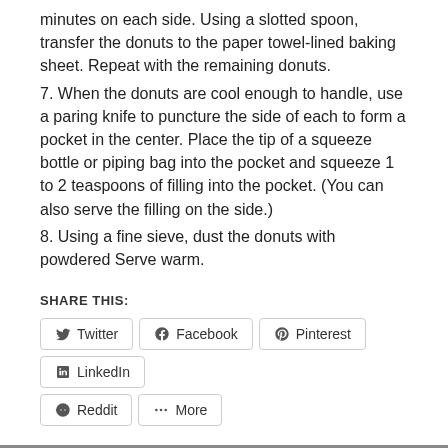in the oil and fry until golden brown, about 3 minutes on each side. Using a slotted spoon, transfer the donuts to the paper towel-lined baking sheet. Repeat with the remaining donuts.
7. When the donuts are cool enough to handle, use a paring knife to puncture the side of each to form a pocket in the center. Place the tip of a squeeze bottle or piping bag into the pocket and squeeze 1 to 2 teaspoons of filling into the pocket. (You can also serve the filling on the side.)
8. Using a fine sieve, dust the donuts with powdered Serve warm.
SHARE THIS:
Twitter  Facebook  Pinterest  LinkedIn
Reddit  More